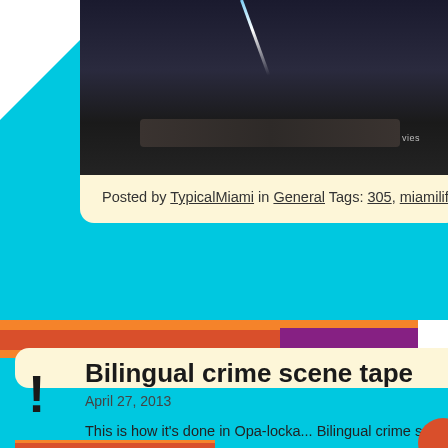[Figure (screenshot): Screenshot of a blog/website showing two post cards on a cyan background. Top card shows a dark image of what appears to be a TV/audio equipment. Bottom card shows a blog post titled 'Bilingual crime scene tape' dated April 27, 2013.]
Posted by TypicalMiami in General Tags: 305, miamilife, onlyin...
Bilingual crime scene tape
April 27, 2013
This is how it's done in Opa-locka... Bilingual crime scene tape.
Posted by TypicalMiami in General Tags: 305, miamilife, onlyin...